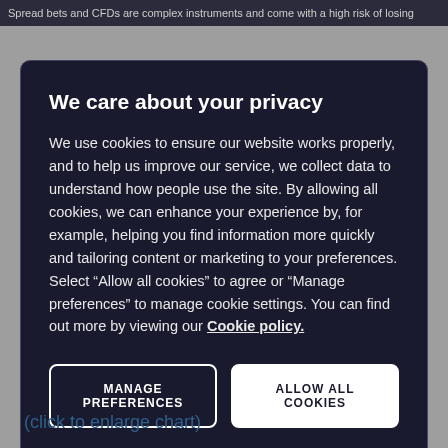Spread bets and CFDs are complex instruments and come with a high risk of losing
We care about your privacy
We use cookies to ensure our website works properly, and to help us improve our service, we collect data to understand how people use the site. By allowing all cookies, we can enhance your experience by, for example, helping you find information more quickly and tailoring content or marketing to your preferences. Select “Allow all cookies” to agree or “Manage preferences” to manage cookie settings. You can find out more by viewing our Cookie policy.
MANAGE PREFERENCES
ALLOW ALL COOKIES
(click to enlarge chart)